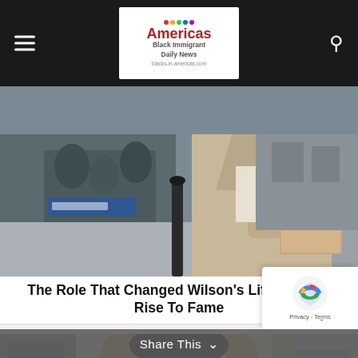Americas Black Immigrant Daily News
[Figure (photo): A man in a beige suit holding a book or folder at an outdoor event, crowd visible in background]
The Role That Changed Wilson's Life: Owen's Rise To Fame
[Figure (photo): A smiling woman with blonde highlighted hair wearing a red top, photographed indoors]
Share This